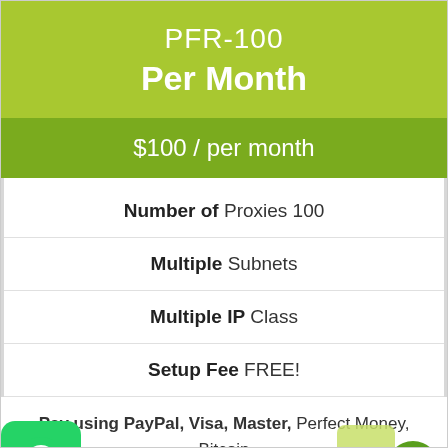PFR-100
Per Month
$100 / per month
Number of Proxies 100
Multiple Subnets
Multiple IP Class
Setup Fee FREE!
Pay using PayPal, Visa, Master, Perfect Money, Bitcoin